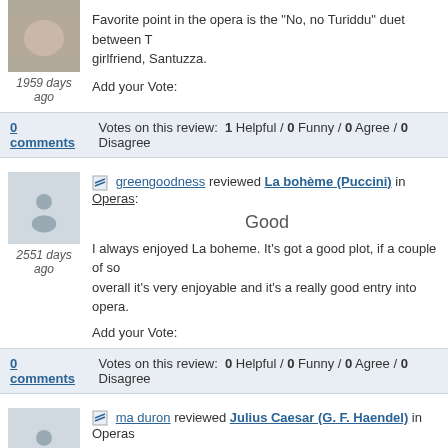1959 days ago
Favorite point in the opera is the "No, no Turiddu" duet between T... girlfriend, Santuzza.
Add your Vote:
0 comments    Votes on this review: 1 Helpful / 0 Funny / 0 Agree / 0 Disagree
greengoodness reviewed La bohème (Puccini) in Operas:
Good
2551 days ago
I always enjoyed La boheme. It's got a good plot, if a couple of so... overall it's very enjoyable and it's a really good entry into opera.
Add your Vote:
0 comments    Votes on this review: 0 Helpful / 0 Funny / 0 Agree / 0 Disagree
ma duron reviewed Julius Caesar (G. F. Haendel) in Operas:
Great!
2850 days ago
Lengthy but extraordinarily well conceived, of interest for those wh...